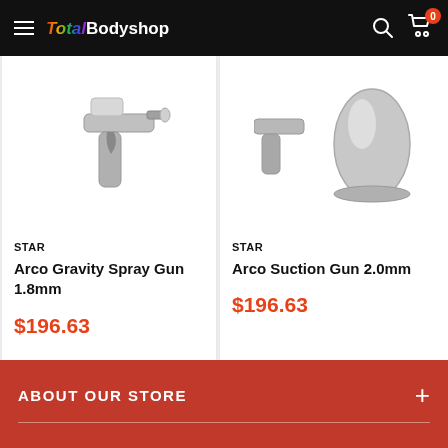Total Bodyshop
STAR
Arco Gravity Spray Gun 1.8mm
$196.63
STAR
Arco Suction Gun 2.0mm
$196.63
ABOUT OUR STORE